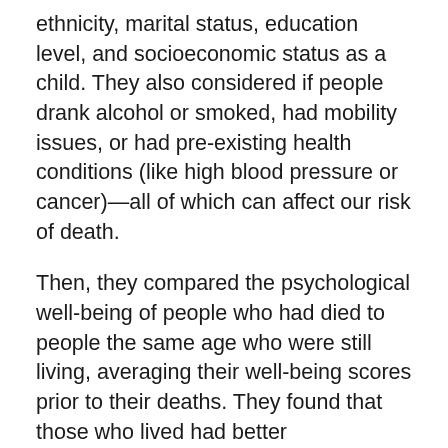ethnicity, marital status, education level, and socioeconomic status as a child. They also considered if people drank alcohol or smoked, had mobility issues, or had pre-existing health conditions (like high blood pressure or cancer)—all of which can affect our risk of death.
Then, they compared the psychological well-being of people who had died to people the same age who were still living, averaging their well-being scores prior to their deaths. They found that those who lived had better psychological health—even after controlling for those factors that increased their risk of early death.
“How people feel about the way their life is going is important for their health and survival,” says lead researcher Jennifer Boylan. “Doing things that promote these good feelings and these abilities to function well and effectively have tangible, significant effects on